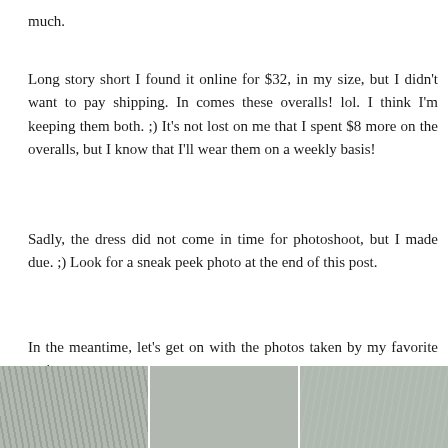much.
Long story short I found it online for $32, in my size, but I didn't want to pay shipping. In comes these overalls! lol. I think I'm keeping them both. ;) It's not lost on me that I spent $8 more on the overalls, but I know that I'll wear them on a weekly basis!
Sadly, the dress did not come in time for photoshoot, but I made due. ;) Look for a sneak peek photo at the end of this post.
In the meantime, let's get on with the photos taken by my favorite cuties...
[Figure (photo): Three side-by-side outdoor photos at the bottom of the page, showing figures among foliage and trees.]